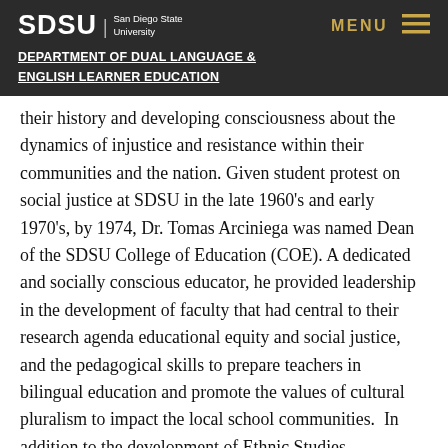SDSU | San Diego State University
MENU ≡
DEPARTMENT OF DUAL LANGUAGE & ENGLISH LEARNER EDUCATION
their history and developing consciousness about the dynamics of injustice and resistance within their communities and the nation. Given student protest on social justice at SDSU in the late 1960's and early 1970's, by 1974, Dr. Tomas Arciniega was named Dean of the SDSU College of Education (COE). A dedicated and socially conscious educator, he provided leadership in the development of faculty that had central to their research agenda educational equity and social justice, and the pedagogical skills to prepare teachers in bilingual education and promote the values of cultural pluralism to impact the local school communities.  In addition to the development of Ethnic Studies departments at SDSU, in the COE Dr. Arciniega began to build a teacher preparation program to feed a bilingual education movement in the